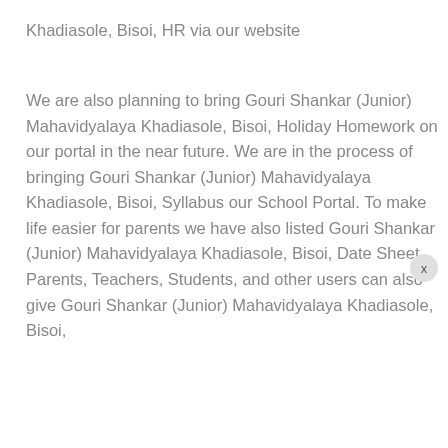Khadiasole, Bisoi, HR via our website
We are also planning to bring Gouri Shankar (Junior) Mahavidyalaya Khadiasole, Bisoi, Holiday Homework on our portal in the near future. We are in the process of bringing Gouri Shankar (Junior) Mahavidyalaya Khadiasole, Bisoi, Syllabus our School Portal. To make life easier for parents we have also listed Gouri Shankar (Junior) Mahavidyalaya Khadiasole, Bisoi, Date Sheet. Parents, Teachers, Students, and other users can also give Gouri Shankar (Junior) Mahavidyalaya Khadiasole, Bisoi,